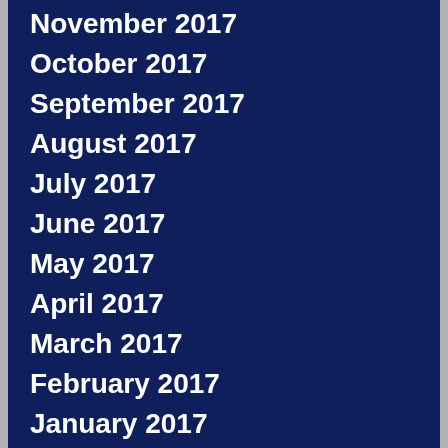November 2017
October 2017
September 2017
August 2017
July 2017
June 2017
May 2017
April 2017
March 2017
February 2017
January 2017
December 2016
November 2016
October 2016